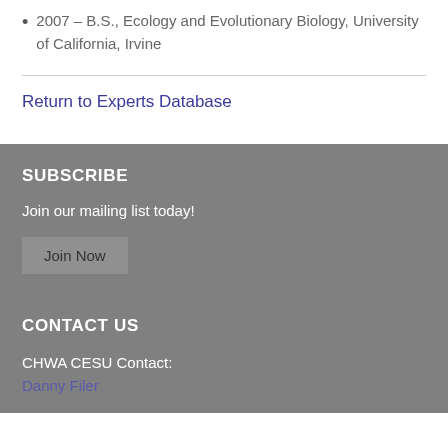2007 – B.S., Ecology and Evolutionary Biology, University of California, Irvine
Return to Experts Database
SUBSCRIBE
Join our mailing list today!
Join Now
CONTACT US
CHWA CESU Contact:
Danny Filer